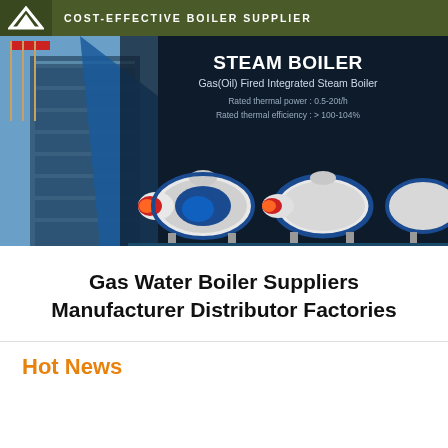COST-EFFECTIVE BOILER SUPPLIER
[Figure (photo): Banner image of industrial steam boilers on dark blue background with building photo on left. Text overlay: STEAM BOILER, Gas(Oil) Fired Integrated Steam Boiler, Rated thermal power: 0.5-20t/h, Rated thermal efficiency: >100-104%. Three white industrial boilers with red/blue details shown.]
Gas Water Boiler Suppliers Manufacturer Distributor Factories
Hot News